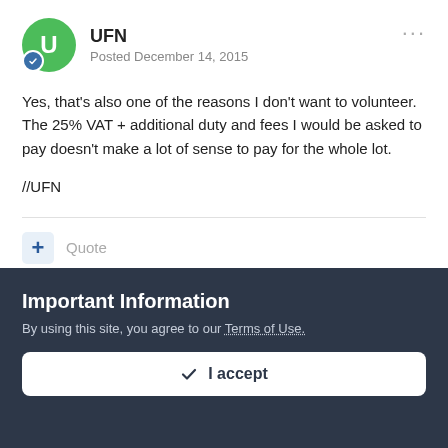UFN
Posted December 14, 2015
Yes, that's also one of the reasons I don't want to volunteer. The 25% VAT + additional duty and fees I would be asked to pay doesn't make a lot of sense to pay for the whole lot.
//UFN
Quote
gepardcv
Important Information
By using this site, you agree to our Terms of Use.
I accept